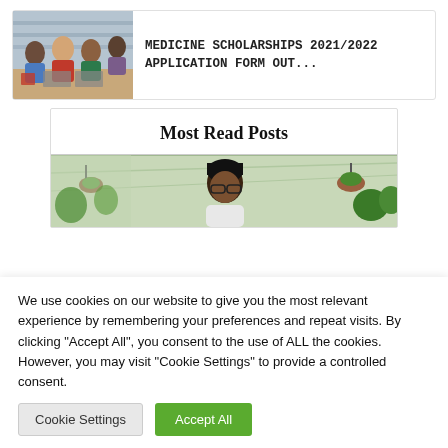[Figure (photo): Students sitting at a table in a library, working on laptops and books]
MEDICINE SCHOLARSHIPS 2021/2022 APPLICATION FORM OUT...
Most Read Posts
[Figure (photo): Woman in a greenhouse or garden setting wearing glasses and a head wrap]
We use cookies on our website to give you the most relevant experience by remembering your preferences and repeat visits. By clicking "Accept All", you consent to the use of ALL the cookies. However, you may visit "Cookie Settings" to provide a controlled consent.